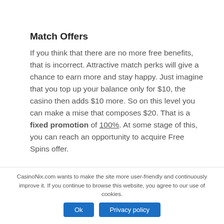Match Offers
If you think that there are no more free benefits, that is incorrect. Attractive match perks will give a chance to earn more and stay happy. Just imagine that you top up your balance only for $10, the casino then adds $10 more. So on this level you can make a mise that composes $20. That is a fixed promotion of 100%. At some stage of this, you can reach an opportunity to acquire Free Spins offer.
CasinoNix.com wants to make the site more user-friendly and continuously improve it. If you continue to browse this website, you agree to our use of cookies.